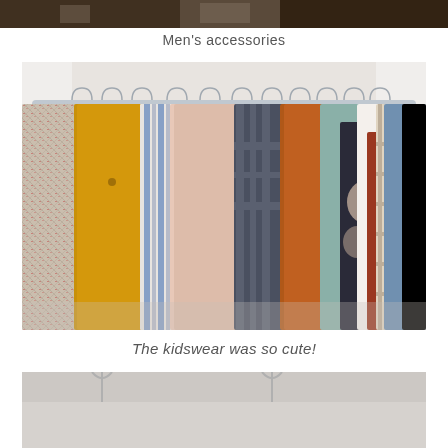[Figure (photo): Top portion of a photo, partially visible at the top of the page]
Men's accessories
[Figure (photo): Photo of clothing items hanging on a rack — includes jackets, shirts, patterned tops in yellow/mustard, pink, blue, orange, floral, plaid, and denim colors]
The kidswear was so cute!
[Figure (photo): Bottom portion of another photo, partially visible at the bottom of the page]